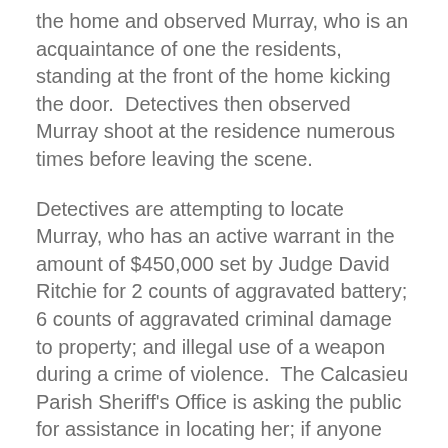the home and observed Murray, who is an acquaintance of one the residents, standing at the front of the home kicking the door.  Detectives then observed Murray shoot at the residence numerous times before leaving the scene.
Detectives are attempting to locate Murray, who has an active warrant in the amount of $450,000 set by Judge David Ritchie for 2 counts of aggravated battery; 6 counts of aggravated criminal damage to property; and illegal use of a weapon during a crime of violence.  The Calcasieu Parish Sheriff's Office is asking the public for assistance in locating her; if anyone knows her whereabouts, please call the Calcasieu Parish Sheriff's Office at 491-3605.
The two victims, ages 10 and 28, were transported to a local hospital with non-life threatening injures.